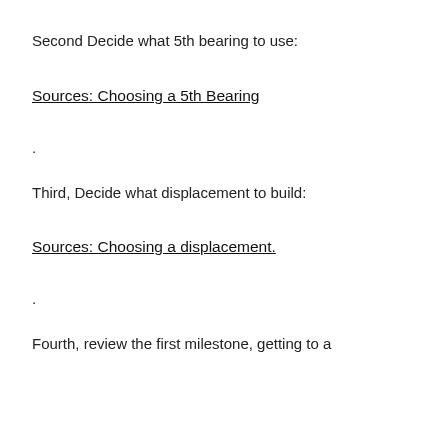Second Decide what 5th bearing to use:
Sources: Choosing a 5th Bearing
.
Third, Decide what displacement to build:
Sources: Choosing a displacement.
.
Fourth, review the first milestone, getting to a